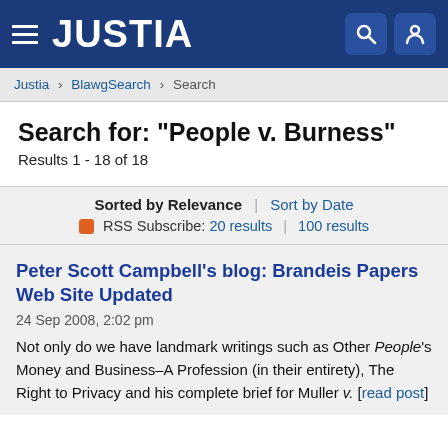JUSTIA
Justia > BlawgSearch > Search
Search for: "People v. Burness"
Results 1 - 18 of 18
Sorted by Relevance | Sort by Date
RSS Subscribe: 20 results | 100 results
Peter Scott Campbell's blog: Brandeis Papers Web Site Updated
24 Sep 2008, 2:02 pm
Not only do we have landmark writings such as Other People's Money and Business–A Profession (in their entirety), The Right to Privacy and his complete brief for Muller v. [read post]